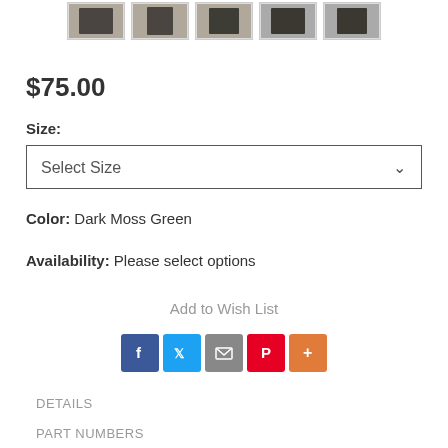[Figure (photo): Row of 5 small product thumbnail images showing a jacket in dark moss green]
$75.00
Size:
Select Size
Color:  Dark Moss Green
Availability: Please select options
Add to Wish List
[Figure (other): Social sharing icons: Facebook, Twitter, Email, Pinterest, More]
DETAILS
PART NUMBERS